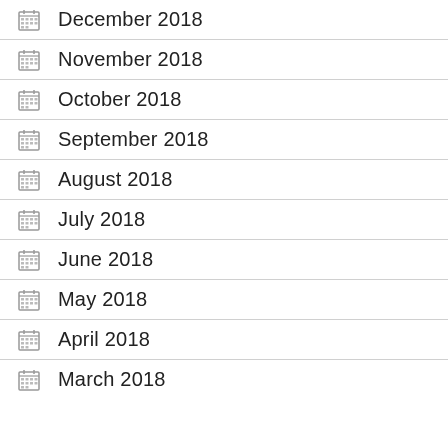December 2018
November 2018
October 2018
September 2018
August 2018
July 2018
June 2018
May 2018
April 2018
March 2018